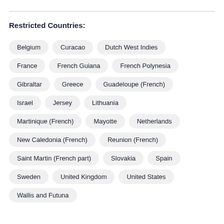Restricted Countries:
Belgium
Curacao
Dutch West Indies
France
French Guiana
French Polynesia
Gibraltar
Greece
Guadeloupe (French)
Israel
Jersey
Lithuania
Martinique (French)
Mayotte
Netherlands
New Caledonia (French)
Reunion (French)
Saint Martin (French part)
Slovakia
Spain
Sweden
United Kingdom
United States
Wallis and Futuna